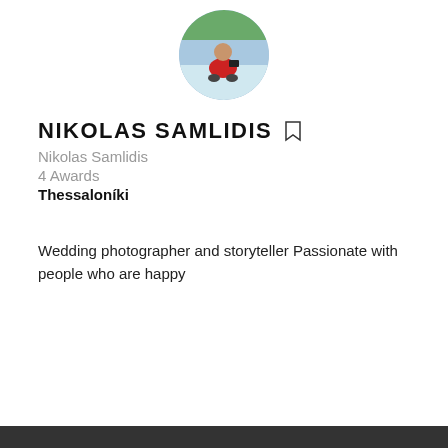[Figure (photo): Circular profile photo of a man in a red shirt sitting outdoors with a camera, with a blue background]
NIKOLAS SAMLIDIS
Nikolas Samlidis
4 Awards
Thessaloníki
Wedding photographer and storyteller Passionate with people who are happy